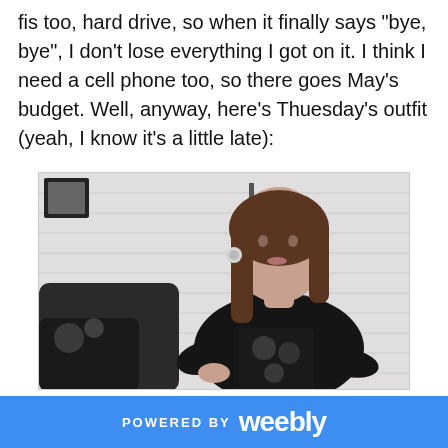fis too, hard drive, so when it finally says "bye, bye", I don't lose everything I got on it. I think I need a cell phone too, so there goes May's budget. Well, anyway, here's Thuesday's outfit (yeah, I know it's a little late):
[Figure (photo): A woman with long brown hair wearing a black blazer over a skull-print t-shirt, sitting in a room with white paneled walls and a floor lamp in the background.]
POWERED BY weebly